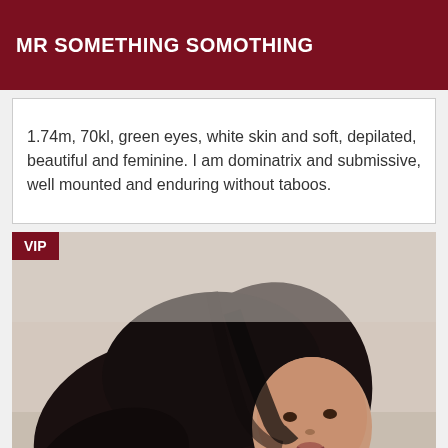MR SOMETHING SOMOTHING
1.74m, 70kl, green eyes, white skin and soft, depilated, beautiful and feminine. I am dominatrix and submissive, well mounted and enduring without taboos.
[Figure (photo): Portrait photo of a person with long dark hair, light brown skin, looking at the camera. A VIP badge is shown in the top-left corner of the photo.]